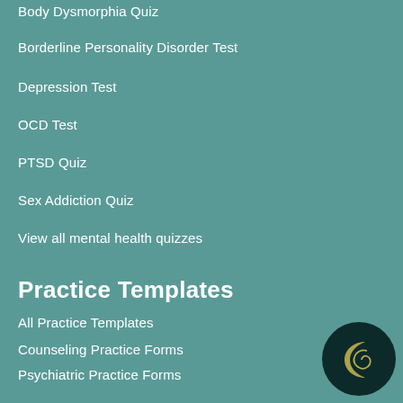Body Dysmorphia Quiz
Borderline Personality Disorder Test
Depression Test
OCD Test
PTSD Quiz
Sex Addiction Quiz
View all mental health quizzes
Practice Templates
All Practice Templates
Counseling Practice Forms
Psychiatric Practice Forms
ACT Therapy Worksheets
CBT Worksheets
Couples Therapy Worksheets
[Figure (logo): Dark circular logo with a crescent moon and spiral design on dark navy/black background]